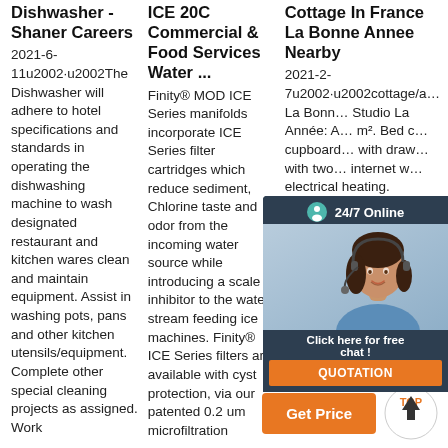Dishwasher - Shaner Careers
2021-6-11u2002·u2002The Dishwasher will adhere to hotel specifications and standards in operating the dishwashing machine to wash designated restaurant and kitchen wares clean and maintain equipment. Assist in washing pots, pans and other kitchen utensils/equipment. Complete other special cleaning projects as assigned. Work
ICE 20C Commercial & Food Services Water ...
Finity® MOD ICE Series manifolds incorporate ICE Series filter cartridges which reduce sediment, Chlorine taste and odor from the incoming water source while introducing a scale inhibitor to the water stream feeding ice machines. Finity® ICE Series filters are available with cyst protection, via our patented 0.2 um microfiltration
Cottage In France La Bonne Annee Nearby
2021-2-7u2002·u2002cottage/a… La Bonne… Studio La Année: A… m². Bed c… cupboard… with draw… with two… internet w… electrical heating. Equipped kitchen with refrigerator (100 l) and freezer, microwave, mini ...
[Figure (photo): Customer service representative woman with headset, overlay advertisement widget with 24/7 Online text, click here for free chat text, and QUOTATION orange button]
[Figure (other): Get Price orange button and TOP circular badge with up arrow]